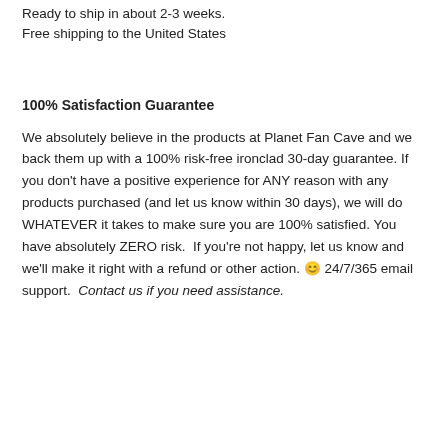Ready to ship in about 2-3 weeks.
Free shipping to the United States
100% Satisfaction Guarantee
We absolutely believe in the products at Planet Fan Cave and we back them up with a 100% risk-free ironclad 30-day guarantee. If you don't have a positive experience for ANY reason with any products purchased (and let us know within 30 days), we will do WHATEVER it takes to make sure you are 100% satisfied. You have absolutely ZERO risk.  If you're not happy, let us know and we'll make it right with a refund or other action. 😊 24/7/365 email support.  Contact us if you need assistance.